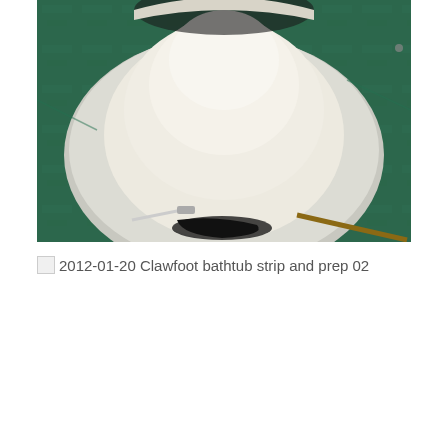[Figure (photo): Overhead view of a white clawfoot bathtub resting on a dark green tarpaulin/drop cloth on the floor. The tub interior is smooth white/cream. Painting tools including a roller are visible on the tarp near the bottom of the tub.]
2012-01-20 Clawfoot bathtub strip and prep 02